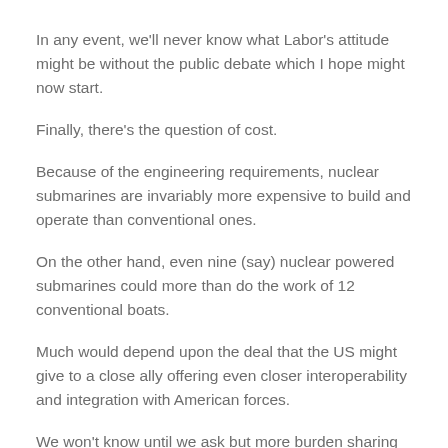In any event, we'll never know what Labor's attitude might be without the public debate which I hope might now start.
Finally, there's the question of cost.
Because of the engineering requirements, nuclear submarines are invariably more expensive to build and operate than conventional ones.
On the other hand, even nine (say) nuclear powered submarines could more than do the work of 12 conventional boats.
Much would depend upon the deal that the US might give to a close ally offering even closer interoperability and integration with American forces.
We won't know until we ask but more burden sharing seems to be exactly what the new US administration wants.